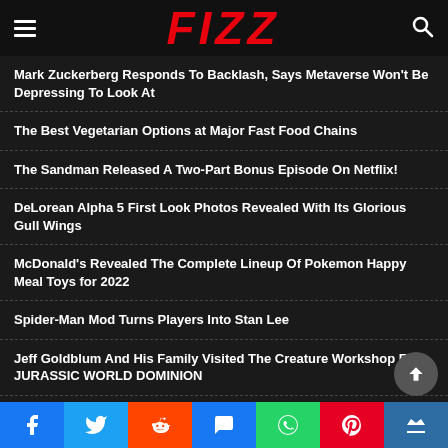FIZZ
Mark Zuckerberg Responds To Backlash, Says Metaverse Won't Be Depressing To Look At
The Best Vegetarian Options at Major Fast Food Chains
The Sandman Released A Two-Part Bonus Episode On Netflix!
DeLorean Alpha 5 First Look Photos Revealed With Its Glorious Gull Wings
McDonald's Revealed The Complete Lineup Of Pokemon Happy Meal Toys for 2022
Spider-Man Mod Turns Players Into Stan Lee
Jeff Goldblum And His Family Visited The Creature Workshop For JURASSIC WORLD DOMINION
New MultiVersus Characters Revealed
Social share bar: Facebook, Twitter, Reddit, Message, WhatsApp, Pinterest, Crown